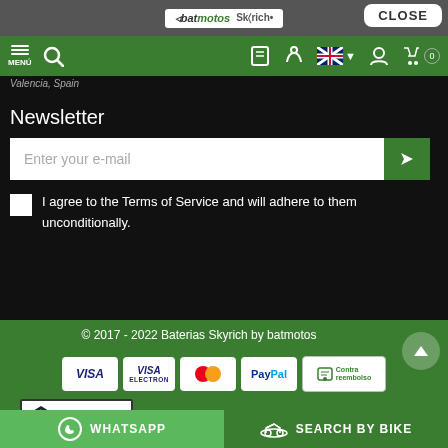[Figure (screenshot): Website header with batmotos and Skyrich logos, CLOSE button, navigation bar with MENÚ, search, and other icons on green background]
Valencia, Spain
Newsletter
Enter your e-mail
I agree to the Terms of Service and will adhere to them unconditionally.
© 2017 - 2022 Baterias Skyrich by batmotos
[Figure (logo): Payment method icons: VISA, VISA ELECTRON, MasterCard, PayPal, Contra reembolso]
[Figure (logo): batmotos logo with Online Store text]
WHATSAPP
SEARCH BY BIKE